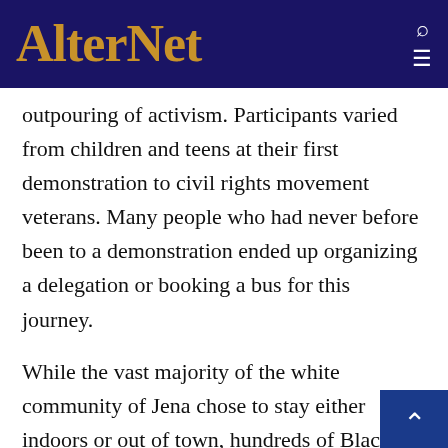AlterNet
outpouring of activism. Participants varied from children and teens at their first demonstration to civil rights movement veterans. Many people who had never before been to a demonstration ended up organizing a delegation or booking a bus for this journey.
While the vast majority of the white community of Jena chose to stay either indoors or out of town, hundreds of Black Jena residents proudly displayed their "Free The Jena Six" shirts and sometimes other things in the ball field